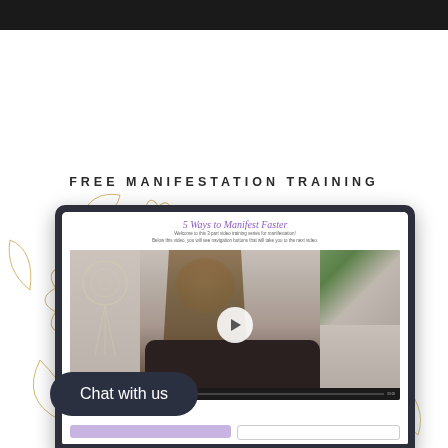FREE MANIFESTATION TRAINING
[Figure (screenshot): Laptop mockup showing a video training page titled '5 Ways to Manifest Faster' with a woman presenting in front of a dreamcatcher and plants background, with a play button overlay and navigation buttons below]
[Figure (illustration): Gold floral line art decorations on left and right sides of the image]
Chat with us